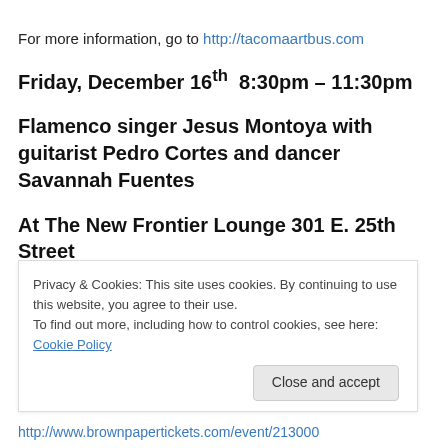For more information, go to http://tacomaartbus.com
Friday, December 16th  8:30pm – 11:30pm
Flamenco singer Jesus Montoya with guitarist Pedro Cortes and dancer Savannah Fuentes
At The New Frontier Lounge 301 E. 25th Street
This is something special. Jesus Montoya has never played Tacoma before. If you're interested in Flamenco
Privacy & Cookies: This site uses cookies. By continuing to use this website, you agree to their use.
To find out more, including how to control cookies, see here: Cookie Policy
Close and accept
http://www.brownpapertickets.com/event/213000